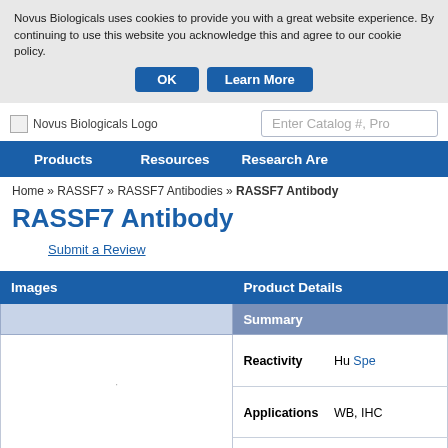Novus Biologicals uses cookies to provide you with a great website experience. By continuing to use this website you acknowledge this and agree to our cookie policy.
OK   Learn More
[Figure (logo): Novus Biologicals Logo placeholder image]
Enter Catalog #, Pro...
Products   Resources   Research Are
Home » RASSF7 » RASSF7 Antibodies » RASSF7 Antibody
RASSF7 Antibody
Submit a Review
| Images | Product Details |
| --- | --- |
|  | Summary |
|  | Reactivity: Hu Spe... |
|  | Applications: WB, IHC |
|  | Clonality: Polyclonal |